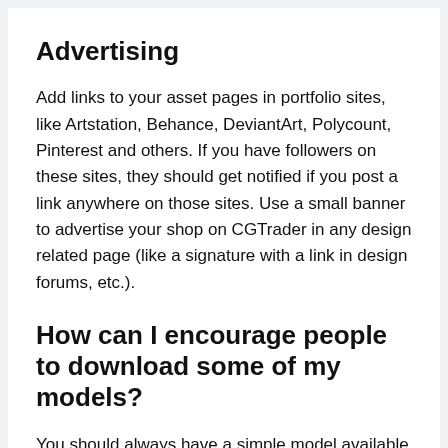Advertising
Add links to your asset pages in portfolio sites, like Artstation, Behance, DeviantArt, Polycount, Pinterest and others. If you have followers on these sites, they should get notified if you post a link anywhere on those sites. Use a small banner to advertise your shop on CGTrader in any design related page (like a signature with a link in design forums, etc.).
How can I encourage people to download some of my models?
You should always have a simple model available for free download to let potential